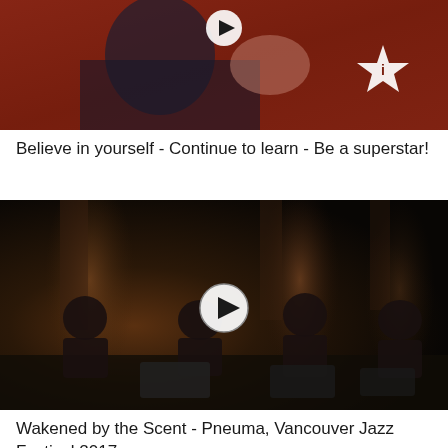[Figure (screenshot): Video thumbnail showing a man in a dark jacket making a hand gesture against a dark red/brown background with a play button icon and a star icon overlay]
Believe in yourself - Continue to learn - Be a superstar!
[Figure (screenshot): Video thumbnail showing four musicians seated in a dark studio/stage setting playing woodwind instruments, with a play button overlay in the center]
Wakened by the Scent - Pneuma, Vancouver Jazz Festival 2017